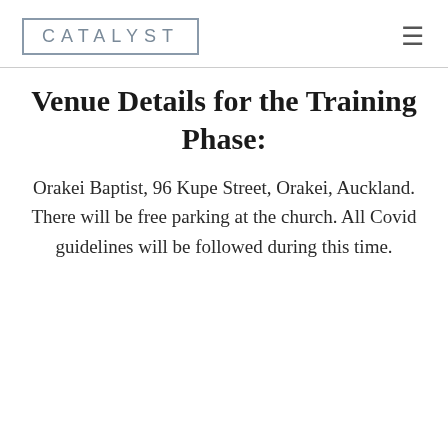CATALYST
Venue Details for the Training Phase:
Orakei Baptist, 96 Kupe Street, Orakei, Auckland. There will be free parking at the church. All Covid guidelines will be followed during this time.